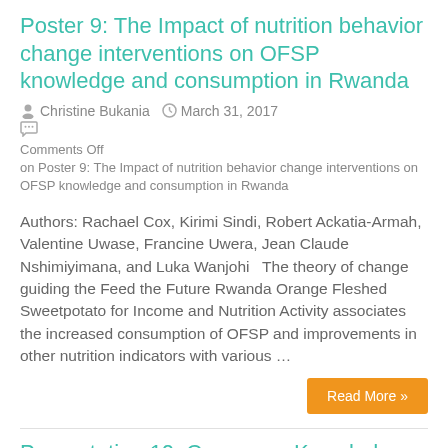Poster 9: The Impact of nutrition behavior change interventions on OFSP knowledge and consumption in Rwanda
Christine Bukania   March 31, 2017
Comments Off on Poster 9: The Impact of nutrition behavior change interventions on OFSP knowledge and consumption in Rwanda
Authors: Rachael Cox, Kirimi Sindi, Robert Ackatia-Armah, Valentine Uwase, Francine Uwera, Jean Claude Nshimiyimana, and Luka Wanjohi   The theory of change guiding the Feed the Future Rwanda Orange Fleshed Sweetpotato for Income and Nutrition Activity associates the increased consumption of OFSP and improvements in other nutrition indicators with various …
Read More »
Presentation 10: Consumer Knowledge and